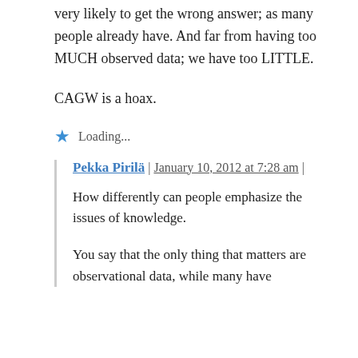very likely to get the wrong answer; as many people already have. And far from having too MUCH observed data; we have too LITTLE.
CAGW is a hoax.
Loading...
Pekka Pirilä | January 10, 2012 at 7:28 am |
How differently can people emphasize the issues of knowledge.
You say that the only thing that matters are observational data, while many have